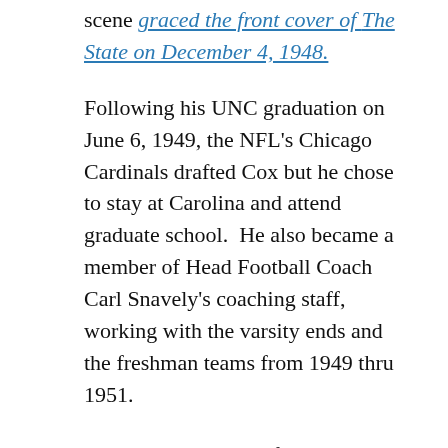scene graced the front cover of The State on December 4, 1948.
Following his UNC graduation on June 6, 1949, the NFL's Chicago Cardinals drafted Cox but he chose to stay at Carolina and attend graduate school.  He also became a member of Head Football Coach Carl Snavely's coaching staff, working with the varsity ends and the freshman teams from 1949 thru 1951.
Cox has two degrees from UNC: a BA and MA in physical education. Following his time at UNC, he became a member of the Carolina Clowns, a basketball team featuring several former Tar Heel athletes. The Clowns formed in 1949, offering those Tar Heels an opportunity to stay